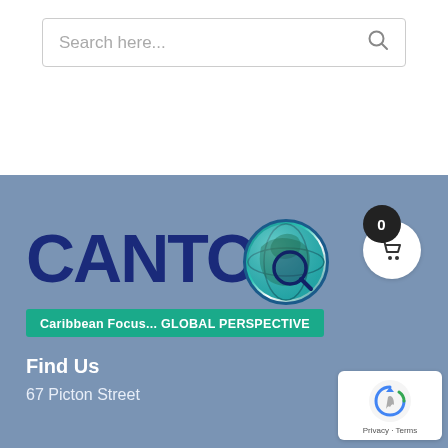Search here...
[Figure (logo): CANTO logo with globe and tagline 'Caribbean Focus... GLOBAL PERSPECTIVE']
Find Us
67 Picton Street
[Figure (other): reCAPTCHA badge with Privacy and Terms links]